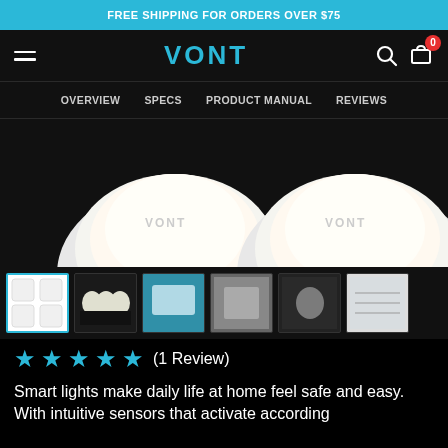FREE SHIPPING FOR ORDERS OVER $75
[Figure (logo): VONT brand logo and navigation bar with hamburger menu, search icon, and cart icon showing 0 items]
OVERVIEW  SPECS  PRODUCT MANUAL  REVIEWS
[Figure (photo): Two white VONT smart night lights glowing with warm white light against a dark background]
[Figure (photo): Six product thumbnail images: active thumbnail showing four white VONT night lights, dark thumbnail showing lights in outlets, teal blue packaging thumbnail, gray product detail thumbnail, dark installation thumbnail, and instruction sheet thumbnail]
★★★★★ (1 Review)
Smart lights make daily life at home feel safe and easy. With intuitive sensors that activate according